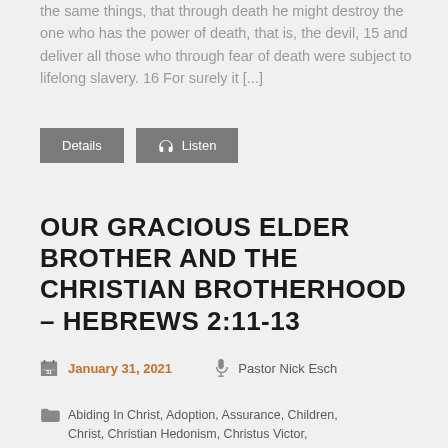the same things, that through death he might destroy the one who has the power of death, that is, the devil, 15 and deliver all those who through fear of death were subject to lifelong slavery. 16 For surely it [...]
Details  Listen
OUR GRACIOUS ELDER BROTHER AND THE CHRISTIAN BROTHERHOOD – HEBREWS 2:11-13
January 31, 2021  Pastor Nick Esch
Abiding In Christ, Adoption, Assurance, Children, Christ, Christian Hedonism, Christus Victor,